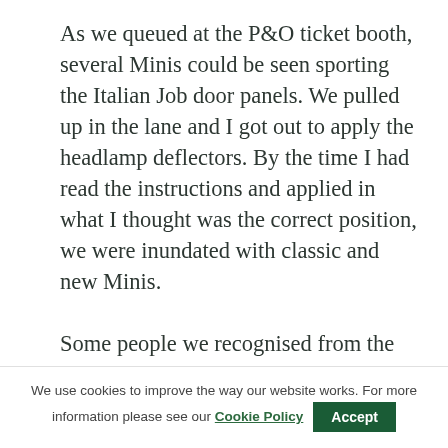As we queued at the P&O ticket booth, several Minis could be seen sporting the Italian Job door panels. We pulled up in the lane and I got out to apply the headlamp deflectors. By the time I had read the instructions and applied in what I thought was the correct position, we were inundated with classic and new Minis.

Some people we recognised from the Mini day at Dunsfold in June, others from
We use cookies to improve the way our website works. For more information please see our Cookie Policy  Accept